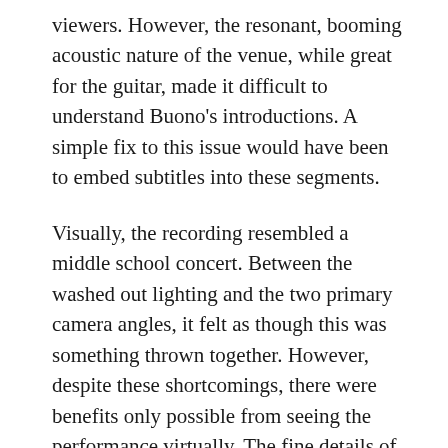viewers. However, the resonant, booming acoustic nature of the venue, while great for the guitar, made it difficult to understand Buono's introductions. A simple fix to this issue would have been to embed subtitles into these segments.
Visually, the recording resembled a middle school concert. Between the washed out lighting and the two primary camera angles, it felt as though this was something thrown together. However, despite these shortcomings, there were benefits only possible from seeing the performance virtually. The fine details of Buono's artistry, whether it be his fingers flying up and down the neck or the way he caressed